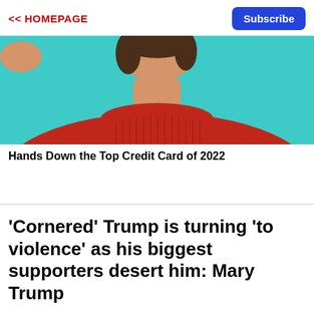<< HOMEPAGE
Subscribe
[Figure (photo): Woman with short dark hair wearing a red ribbed turtleneck sweater against a teal/turquoise background, cropped to show neck and shoulders]
Hands Down the Top Credit Card of 2022
'Cornered' Trump is turning 'to violence' as his biggest supporters desert him: Mary Trump